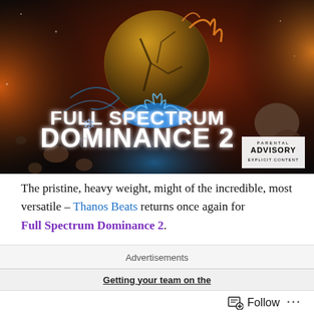[Figure (illustration): Album cover for 'Full Spectrum Dominance 2' by Thanos Beats. Dark sci-fi artwork showing a cracked golden planet/orb surrounded by blue and orange fire/energy against a dark space background with asteroids. Text overlay reads 'FULL SPECTRUM DOMINANCE 2' in bold white letters. Parental Advisory Explicit Content badge in lower right corner.]
The pristine, heavy weight, might of the incredible, most versatile – Thanos Beats returns once again for Full Spectrum Dominance 2.
WORD is: that the 'Curb Your Ego' design is SO good. it's
Advertisements
Getting your team on the
Follow ...